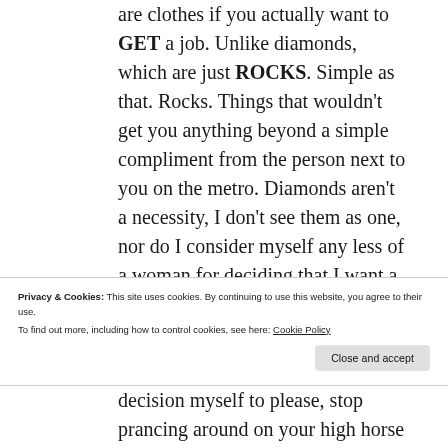are clothes if you actually want to GET a job. Unlike diamonds, which are just ROCKS. Simple as that. Rocks. Things that wouldn't get you anything beyond a simple compliment from the person next to you on the metro. Diamonds aren't a necessity, I don't see them as one, nor do I consider myself any less of a woman for deciding that I want a 'fake' ring. And as for the 'price' and the 'size' of the diamond? Guess what? I'm not even getting a one carat. I'm getting a
Privacy & Cookies: This site uses cookies. By continuing to use this website, you agree to their use.
To find out more, including how to control cookies, see here: Cookie Policy
Close and accept
decision myself to please, stop prancing around on your high horse